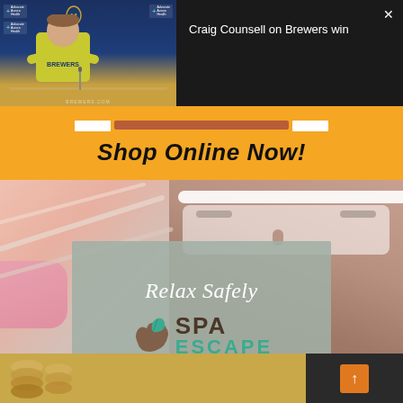[Figure (screenshot): Video thumbnail showing Craig Counsell (Milwaukee Brewers manager) at a press conference with Advocate Aurora Health and Brewers branding in background]
Craig Counsell on Brewers win
[Figure (infographic): Orange advertisement banner with text 'Shop Online Now!' in bold italic black font, with a dark red/brown bar above the text]
[Figure (photo): Spa advertisement showing a woman receiving a facial treatment with a brush, overlaid with a gray semi-transparent box containing 'Relax Safely' in cursive white text and the Spa Escape logo with a hand and leaf icon]
[Figure (photo): Bottom strip showing golden/yellow toned abacus or stacked items on the left, and a dark panel on the right with an orange up-arrow scroll button]